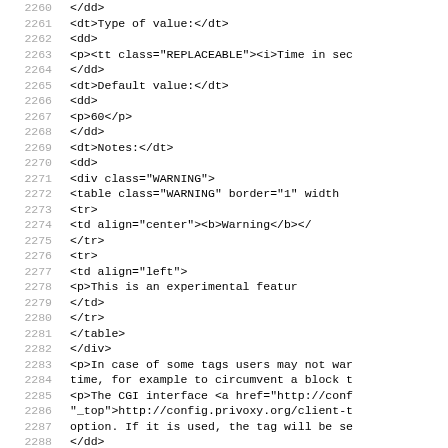Code listing lines 2260-2291 showing XML/HTML source code with line numbers
2260     </dd>
2261     <dt>Type of value:</dt>
2262     <dd>
2263       <p><tt class="REPLACEABLE"><i>Time in sec
2264     </dd>
2265     <dt>Default value:</dt>
2266     <dd>
2267       <p>60</p>
2268     </dd>
2269     <dt>Notes:</dt>
2270     <dd>
2271       <div class="WARNING">
2272         <table class="WARNING" border="1" width
2273           <tr>
2274             <td align="center"><b>Warning</b></
2275           </tr>
2276           <tr>
2277             <td align="left">
2278               <p>This is an experimental featur
2279             </td>
2280           </tr>
2281         </table>
2282       </div>
2283       <p>In case of some tags users may not war
2284       time, for example to circumvent a block t
2285       <p>The CGI interface <a href="http://conf
2286       "_top">http://config.privoxy.org/client-t
2287       option. If it is used, the tag will be se
2288     </dd>
2289     <dt>Example:</dt>
2290     <dd>
2291       <table border="0" bgcolor="#F0F0F0" width